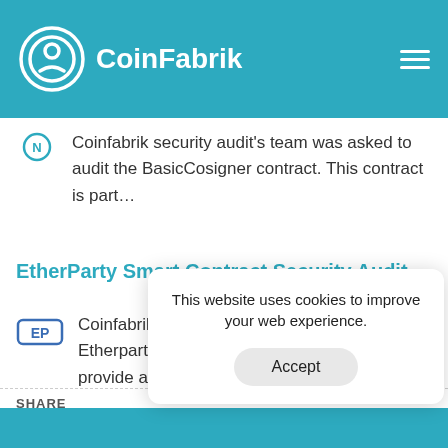[Figure (logo): CoinFabrik logo with shield icon and navigation bar in teal]
Coinfabrik security audit's team was asked to audit the BasicCosigner contract. This contract is part…
EtherParty Smart Contract Security Audit
[Figure (logo): EtherParty logo icon (EP letters in blue)]
Coinfabrik team has been hired to audit Etherparty smart contracts. Firstly, we will provide a…
SHARE
This website uses cookies to improve your web experience.
Accept